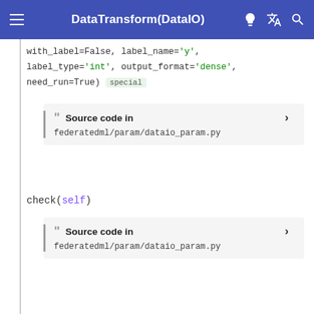DataTransform(DataIO)
with_label=False, label_name='y', label_type='int', output_format='dense', need_run=True) special
Source code in federatedml/param/dataio_param.py
check(self)
Source code in federatedml/param/dataio_param.py